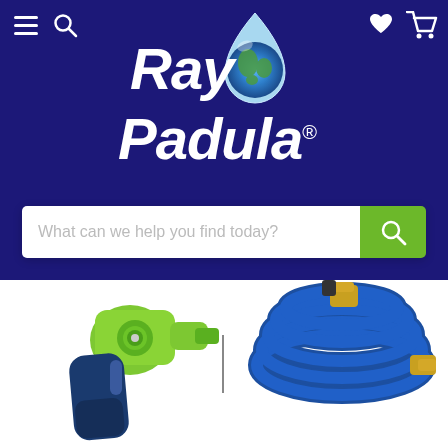[Figure (screenshot): Ray Padula website header screenshot showing dark navy blue background with hamburger menu and search icon on left, heart and cart icons on right, a large white italic bold logo reading 'Ray Padula' with a globe/water drop graphic, a search bar below reading 'What can we help you find today?' with a green search button, and two product images at the bottom: a green/blue spray nozzle on the left and a coiled blue expandable hose with brass fittings on the right.]